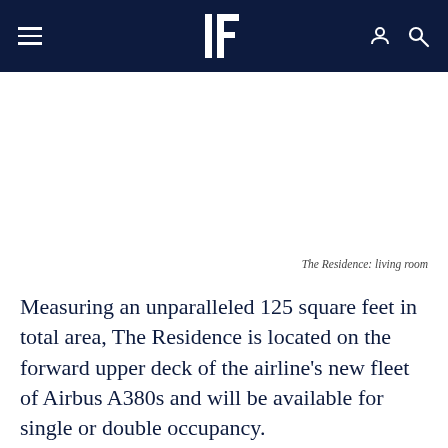≡  [Bt logo]  🧑 🔍
The Residence: living room
Measuring an unparalleled 125 square feet in total area, The Residence is located on the forward upper deck of the airline's new fleet of Airbus A380s and will be available for single or double occupancy.
The first of its kind for the superjumbo, Etihad